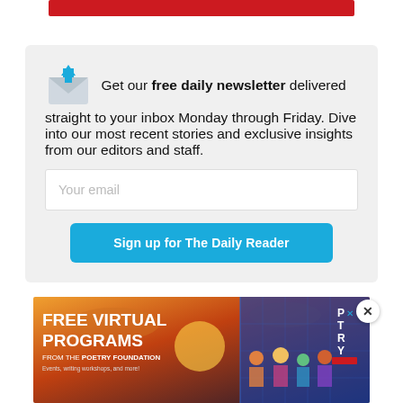[Figure (other): Red horizontal bar at top of page]
Get our free daily newsletter delivered straight to your inbox Monday through Friday. Dive into our most recent stories and exclusive insights from our editors and staff.
[Figure (illustration): Email/newsletter subscription form with email input field and blue sign up button]
[Figure (illustration): Advertisement banner: FREE VIRTUAL PROGRAMS FROM THE POETRY FOUNDATION with illustrated figures and sunset background]